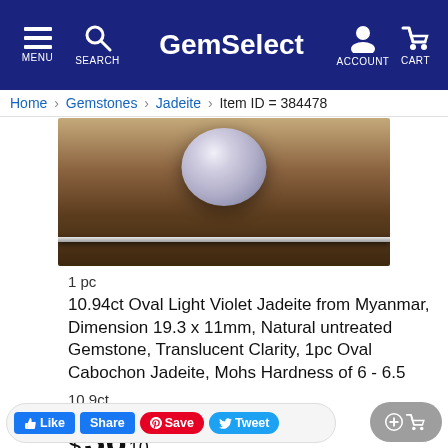MENU  SEARCH  GemSelect  ACCOUNT  CART
Home  Gemstones  Jadeite  Item ID = 384478
[Figure (photo): Close-up photo of an oval light violet jadeite cabochon gemstone on a rocky brown surface with a ruler/gauge below it]
1 pc
10.94ct Oval Light Violet Jadeite from Myanmar, Dimension 19.3 x 11mm, Natural untreated Gemstone, Translucent Clarity, 1pc Oval Cabochon Jadeite, Mohs Hardness of 6 - 6.5
10.9ct
19.3 x 11 mm
$ 36 10